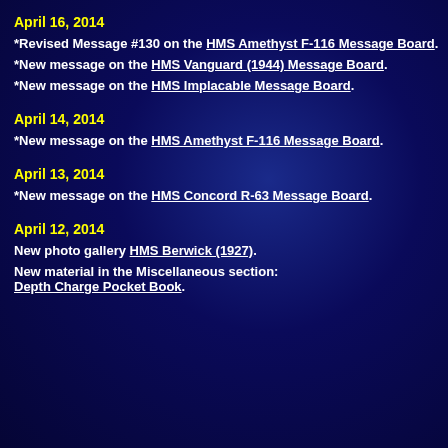April 16, 2014
*Revised Message #130 on the HMS Amethyst F-116 Message Board.
*New message on the HMS Vanguard (1944) Message Board.
*New message on the HMS Implacable Message Board.
April 14, 2014
*New message on the HMS Amethyst F-116 Message Board.
April 13, 2014
*New message on the HMS Concord R-63 Message Board.
April 12, 2014
New photo gallery HMS Berwick (1927).
New material in the Miscellaneous section:
Depth Charge Pocket Book.